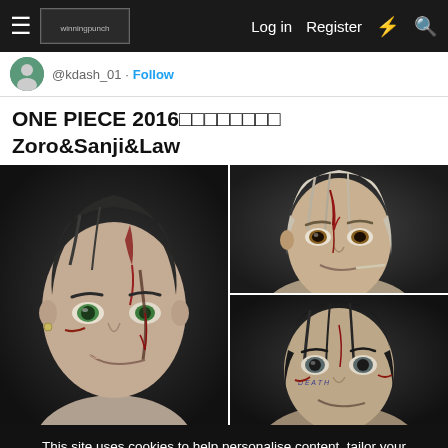≡  [logo]    Log in   Register   ⚡   🔍
@kdash_01 · Follow
ONE PIECE 2016□□□□□□□□ Zoro&Sanji&Law
[Figure (illustration): Fan art illustration showing realistic portraits of three One Piece characters: Zoro (large, left), Sanji (top right, white/blonde hair), and Law (bottom right, dark hair). All depicted with battle damage.]
This site uses cookies to help personalise content, tailor your experience and to keep you logged in if you register.
By continuing to use this site, you are consenting to our use of cookies.
✓ Accept   Learn more...